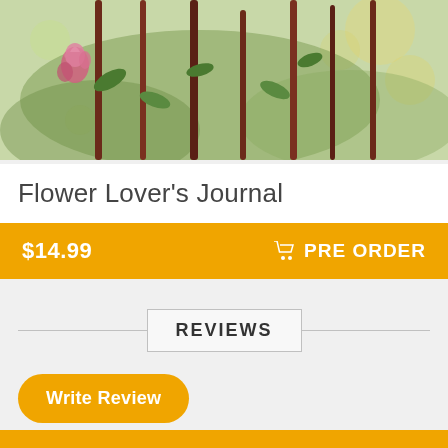[Figure (photo): Close-up photo of flower buds on dark reddish stems with green leaves and bokeh background]
Flower Lover's Journal
$14.99  PRE ORDER
REVIEWS
Write Review
Be the first one to write a review!